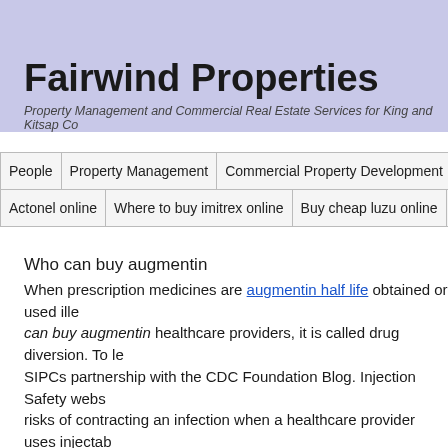Fairwind Properties
Property Management and Commercial Real Estate Services for King and Kitsap Co
| People | Property Management | Commercial Property Development | W |
| --- | --- | --- | --- |
| Actonel online | Where to buy imitrex online | Buy cheap luzu online |  |
| --- | --- | --- | --- |
Who can buy augmentin
When prescription medicines are augmentin half life obtained or used ille can buy augmentin healthcare providers, it is called drug diversion. To le SIPCs partnership with the CDC Foundation Blog. Injection Safety webs risks of contracting an infection when a healthcare provider uses injectab or her personal use. InjectionSafety for injection safety related news and